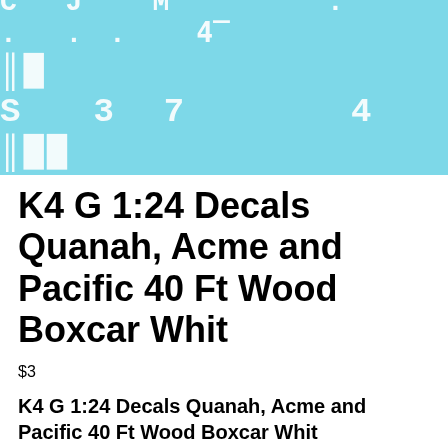[Figure (photo): Light blue product image showing white stencil/decal text with numbers and letters resembling railroad car markings, text reads approximately '1032470789']
K4 G 1:24 Decals Quanah, Acme and Pacific 40 Ft Wood Boxcar Whit
$3
K4 G 1:24 Decals Quanah, Acme and Pacific 40 Ft Wood Boxcar Whit
Item specifics